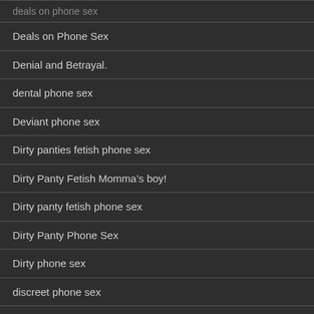deals on phone sex
Deals on Phone Sex
Denial and Betrayal.
dental phone sex
Deviant phone sex
Dirty panties fetish phone sex
Dirty Panty Fetish Momma's boy!
Dirty panty fetish phone sex
Dirty Panty Phone Sex
Dirty phone sex
discreet phone sex
doctor patient fantasy phone sex